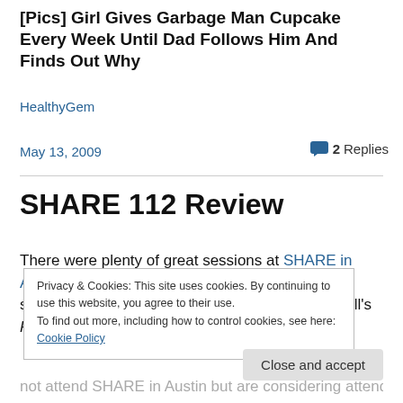[Pics] Girl Gives Garbage Man Cupcake Every Week Until Dad Follows Him And Finds Out Why
HealthyGem
May 13, 2009
2 Replies
SHARE 112 Review
There were plenty of great sessions at SHARE in Austin last week. I focused primarily on CICS sessions, and from Steve Ware's and Kathy Tyrrell's Project Opening and
Privacy & Cookies: This site uses cookies. By continuing to use this website, you agree to their use.
To find out more, including how to control cookies, see here: Cookie Policy
Close and accept
not attend SHARE in Austin but are considering attending